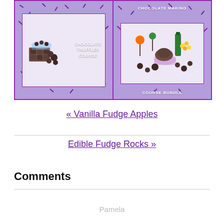[Figure (illustration): Two side-by-side promotional banners on a purple sprinkle background. Left banner shows 'Chocolate Truffles Course' with chocolate truffle images inside a bordered box. Right banner shows 'Chocolate Making Course Bundle' with assorted chocolate confections inside a bordered box.]
« Vanilla Fudge Apples
Edible Fudge Rocks »
Comments
Pamela